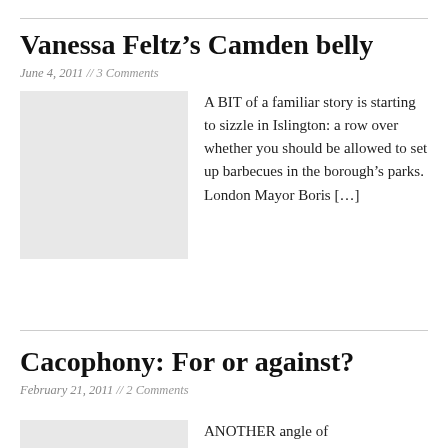Vanessa Feltz’s Camden belly
June 4, 2011 // 3 Comments
[Figure (photo): Placeholder image, light grey rectangle]
A BIT of a familiar story is starting to sizzle in Islington: a row over whether you should be allowed to set up barbecues in the borough’s parks. London Mayor Boris […]
Cacophony: For or against?
February 21, 2011 // 2 Comments
ANOTHER angle of